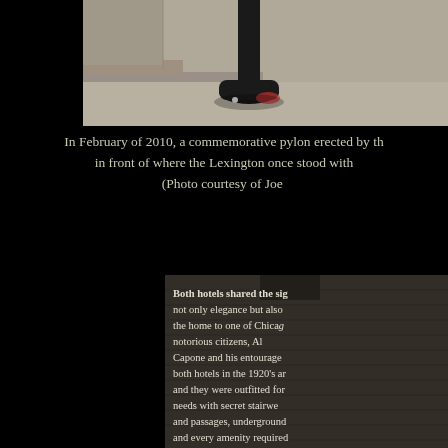[Figure (photo): Close-up photo of a black cast-iron lamp post base on a concrete sidewalk, with a small red mark near the base]
In February of 2010, a commemorative pylon erected by th... in front of where the Lexington once stood with... (Photo courtesy of Joe ...
[Figure (photo): Photo of a placard or sign with text about both hotels sharing significance, mentioning elegance, Al Capone and his entourage, secret stairwells and passages, underground amenities]